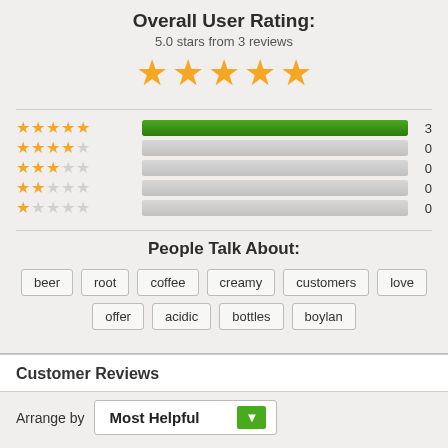Overall User Rating:
5.0 stars from 3 reviews
[Figure (other): Five large gold filled stars representing 5.0 rating]
[Figure (bar-chart): Rating breakdown]
People Talk About:
beer
root
coffee
creamy
customers
love
offer
acidic
bottles
boylan
Customer Reviews
Arrange by  Most Helpful